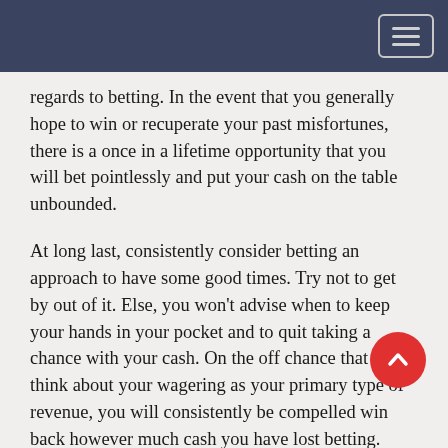regards to betting. In the event that you generally hope to win or recuperate your past misfortunes, there is a once in a lifetime opportunity that you will bet pointlessly and put your cash on the table unbounded.
At long last, consistently consider betting an approach to have some good times. Try not to get by out of it. Else, you won't advise when to keep your hands in your pocket and to quit taking a chance with your cash. On the off chance that you think about your wagering as your primary type of revenue, you will consistently be compelled win back however much cash you have lost betting. Before you know it, you will be among the individuals who have gotten so urgent to win with